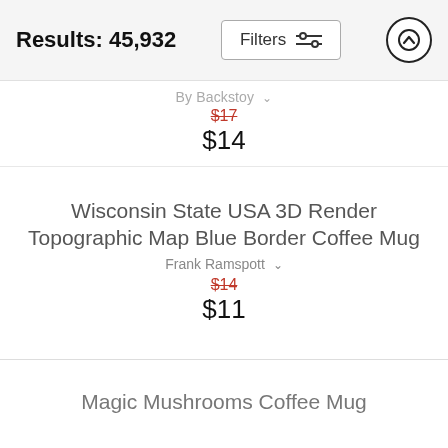Results: 45,932
By Backstoy
$17 $14
Wisconsin State USA 3D Render Topographic Map Blue Border Coffee Mug
Frank Ramspott
$14 $11
Magic Mushrooms Coffee Mug